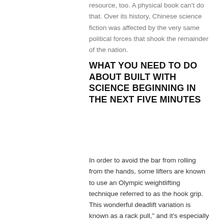resource, too. A physical book can't do that. Over its history, Chinese science fiction was affected by the very same political forces that shook the remainder of the nation.
WHAT YOU NEED TO DO ABOUT BUILT WITH SCIENCE BEGINNING IN THE NEXT FIVE MINUTES
In order to avoid the bar from rolling from the hands, some lifters are known to use an Olympic weightlifting technique referred to as the hook grip. This wonderful deadlift variation is known as a rack pull," and it's especially great for anyone with mobility problems that limit their variety of motion. The very best deadlift ultimately depends upon which